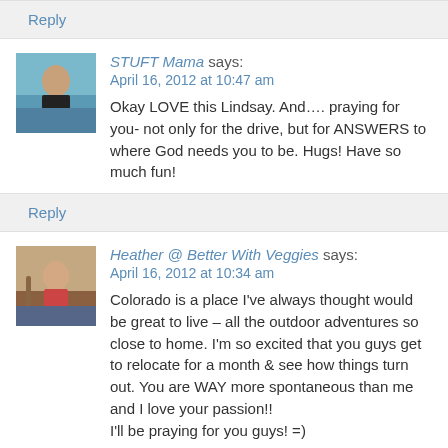Reply
STUFT Mama says:
April 16, 2012 at 10:47 am
Okay LOVE this Lindsay. And…. praying for you- not only for the drive, but for ANSWERS to where God needs you to be. Hugs! Have so much fun!
Reply
Heather @ Better With Veggies says:
April 16, 2012 at 10:34 am
Colorado is a place I've always thought would be great to live – all the outdoor adventures so close to home. I'm so excited that you guys get to relocate for a month & see how things turn out. You are WAY more spontaneous than me and I love your passion!!
I'll be praying for you guys! =)